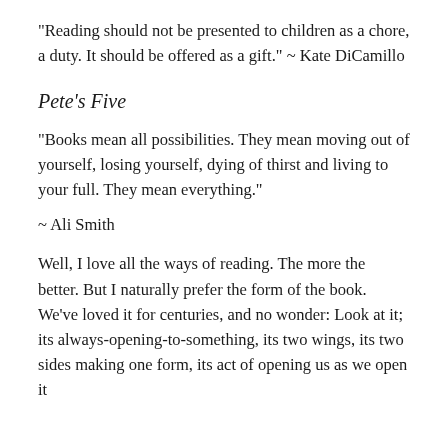“Reading should not be presented to children as a chore, a duty. It should be offered as a gift.” ~ Kate DiCamillo
Pete’s Five
“Books mean all possibilities. They mean moving out of yourself, losing yourself, dying of thirst and living to your full. They mean everything.”
~ Ali Smith
Well, I love all the ways of reading. The more the better. But I naturally prefer the form of the book. We’ve loved it for centuries, and no wonder: Look at it; its always-opening-to-something, its two wings, its two sides making one form, its act of opening us as we open it